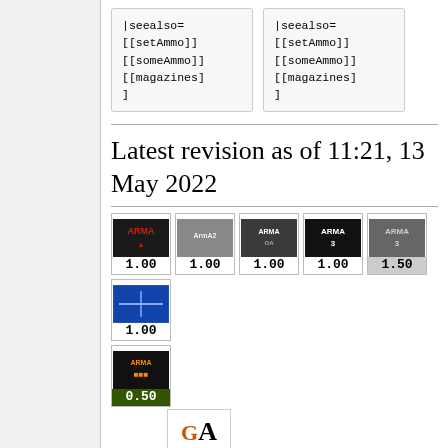[Figure (screenshot): Two code boxes showing wiki template markup with |seealso= [[setAmmo]] [[someAmmo]] [[magazines]]]
Latest revision as of 11:21, 13 May 2022
[Figure (infographic): Version badges for multiple ARMA games: arma1 1.00, arma2 1.00, armaCO 1.00, arma3 1.00, arma3 1.50, TKOH 1.00, arma3 0.50, and a Global badge]
Hover & click on the images for description
Description
| Field | Value |
| --- | --- |
| Description: | Check how many rounds are left in the currently loaded |